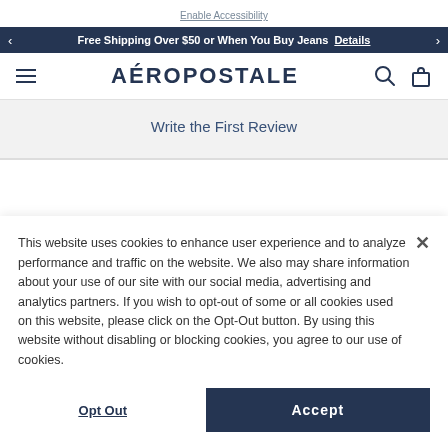Enable Accessibility
Free Shipping Over $50 or When You Buy Jeans  Details
AÉROPOSTALE
Write the First Review
This website uses cookies to enhance user experience and to analyze performance and traffic on the website. We also may share information about your use of our site with our social media, advertising and analytics partners. If you wish to opt-out of some or all cookies used on this website, please click on the Opt-Out button. By using this website without disabling or blocking cookies, you agree to our use of cookies.
Opt Out
Accept